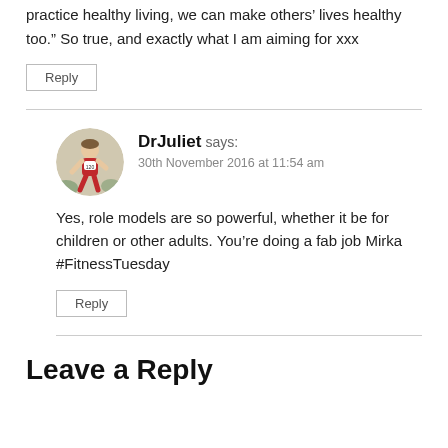[Figure (illustration): Gray avatar silhouette icon at top of page]
Another great review! Love this: “I’ve learnt that if we practice healthy living, we can make others’ lives healthy too.” So true, and exactly what I am aiming for xxx
Reply
[Figure (photo): Circular avatar photo of DrJuliet, a woman in a red running outfit at a race]
DrJuliet says: 30th November 2016 at 11:54 am
Yes, role models are so powerful, whether it be for children or other adults. You’re doing a fab job Mirka #FitnessTuesday
Reply
Leave a Reply